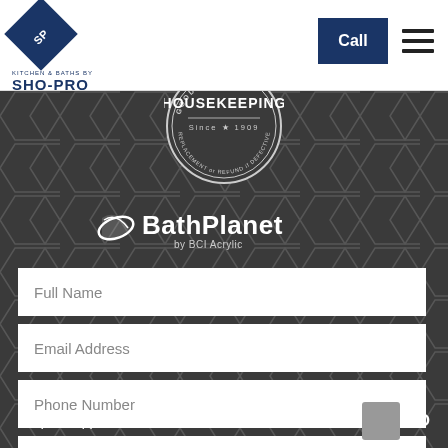[Figure (logo): Kitchen & Baths by SHO-PRO logo with blue diamond shape containing SP initials]
Call
[Figure (logo): Good Housekeeping seal - circular badge with text HOUSEKEEPING Since 1909 REPLACEMENT or REFUND if DEFECTIVE]
[Figure (logo): BathPlanet by BCI Acrylic logo in white on dark background]
Full Name
Email Address
Phone Number
Full Address
Request appointment?
NO